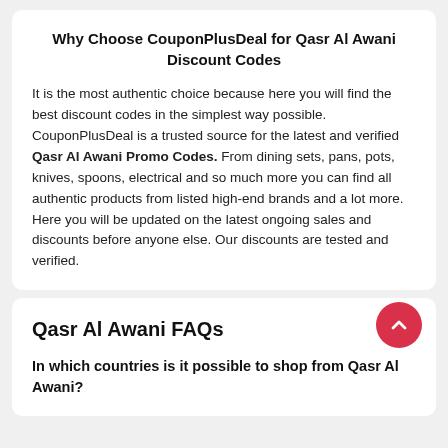Why Choose CouponPlusDeal for Qasr Al Awani Discount Codes
It is the most authentic choice because here you will find the best discount codes in the simplest way possible. CouponPlusDeal is a trusted source for the latest and verified Qasr Al Awani Promo Codes. From dining sets, pans, pots, knives, spoons, electrical and so much more you can find all authentic products from listed high-end brands and a lot more. Here you will be updated on the latest ongoing sales and discounts before anyone else. Our discounts are tested and verified.
Qasr Al Awani FAQs
In which countries is it possible to shop from Qasr Al Awani?